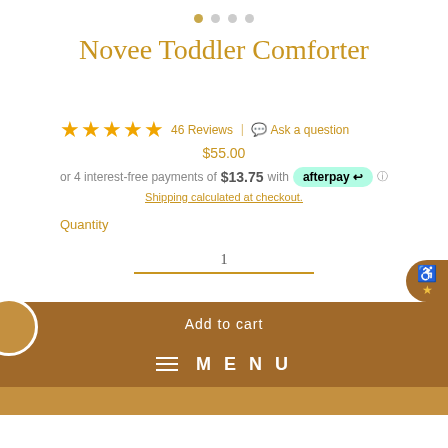[Figure (other): Page indicator dots, first dot filled gold, others grey]
Novee Toddler Comforter
★★★★★ 46 Reviews | 💬 Ask a question
$55.00
or 4 interest-free payments of $13.75 with afterpay ⓘ
Shipping calculated at checkout.
Quantity
1
Add to cart
☰ MENU